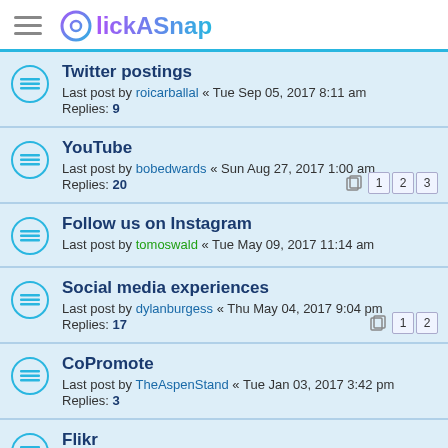ClickASnap
Twitter postings
Last post by roicarballal « Tue Sep 05, 2017 8:11 am
Replies: 9
YouTube
Last post by bobedwards « Sun Aug 27, 2017 1:00 am
Replies: 20
Follow us on Instagram
Last post by tomoswald « Tue May 09, 2017 11:14 am
Social media experiences
Last post by dylanburgess « Thu May 04, 2017 9:04 pm
Replies: 17
CoPromote
Last post by TheAspenStand « Tue Jan 03, 2017 3:42 pm
Replies: 3
Flikr
Last post by tony-smith « Wed Dec 14, 2016 10:39 am
Replies: 4